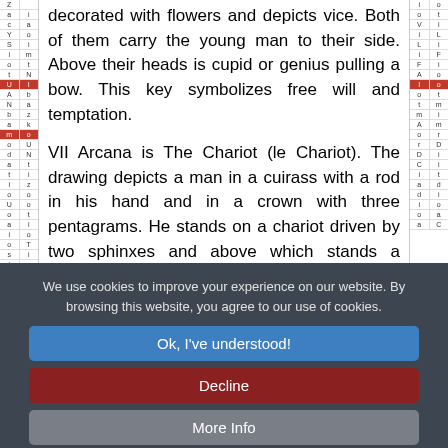decorated with flowers and depicts vice. Both of them carry the young man to their side. Above their heads is cupid or genius pulling a bow. This key symbolizes free will and temptation.
VII Arcana is The Chariot (le Chariot). The drawing depicts a man in a cuirass with a rod in his hand and in a crown with three pentagrams. He stands on a chariot driven by two sphinxes and above which stands a canopy on four columns.
These columns depict the four elements or matter in its four forms, and the two sphinxes symbolize the active
We use cookies to improve your experience on our website. By browsing this website, you agree to our use of cookies.
Ok, I've understood!
Decline
More Info